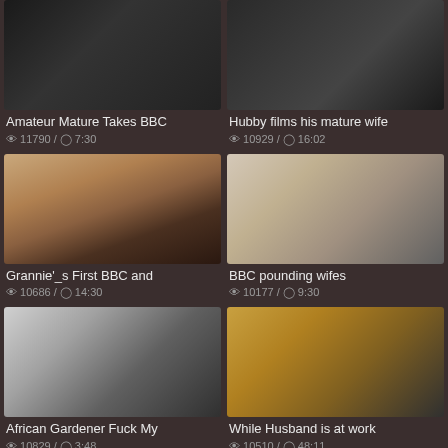[Figure (screenshot): Video thumbnail - top left, dark tones]
Amateur Mature Takes BBC
👁 11790 / ⏱ 7:30
[Figure (screenshot): Video thumbnail - top right, dark tones]
Hubby films his mature wife
👁 10929 / ⏱ 16:02
[Figure (photo): Video thumbnail - bedroom scene, warm tones]
Grannie'_s First BBC and
👁 10686 / ⏱ 14:30
[Figure (photo): Video thumbnail - close face shot, neutral tones]
BBC pounding wifes
👁 10177 / ⏱ 9:30
[Figure (photo): Video thumbnail - blurred close up, grey tones]
African Gardener Fuck My
👁 10829 / ⏱ 3:48
[Figure (photo): Video thumbnail - hotel room, blonde woman, warm tones]
While Husband is at work
👁 10510 / ⏱ 48:11
[Figure (screenshot): Video thumbnail - bottom left, partially visible]
[Figure (screenshot): Video thumbnail - bottom right, partially visible]